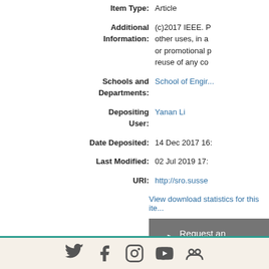Item Type: Article
Additional Information: (c)2017 IEEE. Personal use of this material is permitted. Permission from IEEE must be obtained for all other uses, in any current or future media, including reprinting/republishing this material for advertising or promotional purposes, creating new collective works, for resale or redistribution to servers or lists, or reuse of any copyrighted component of this work in other works.
Schools and Departments: School of Engineering and Informatics
Depositing User: Yanan Li
Date Deposited: 14 Dec 2017 16:...
Last Modified: 02 Jul 2019 17:...
URI: http://sro.susse...
View download statistics for this item
Request an update